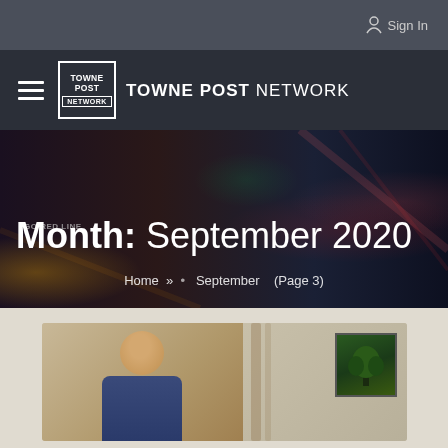Sign In
[Figure (logo): Towne Post Network logo with hamburger menu icon]
Month: September 2020
Home » . September (Page 3)
[Figure (photo): Article card with a smiling man in a suit standing in an office with artwork]